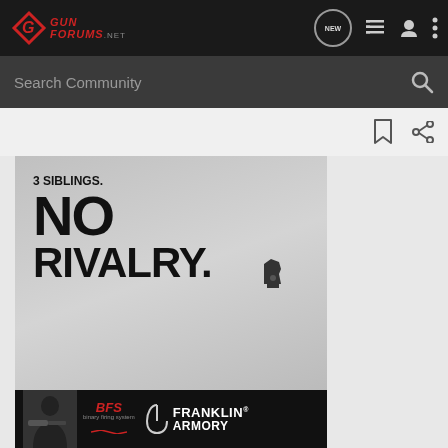[Figure (screenshot): GunForums.net website header navigation bar with logo, NEW chat bubble, list icon, user icon, and three-dot menu icon on dark background]
[Figure (screenshot): Search Community search bar with magnifying glass icon on dark gray background]
[Figure (screenshot): White action bar with bookmark and share icons on the right]
[Figure (advertisement): Gun advertisement with text '3 SIBLINGS. NO RIVALRY.' on gray background with silhouette of a pistol, and Franklin Armory BFS logo banner at bottom with shooter photo]